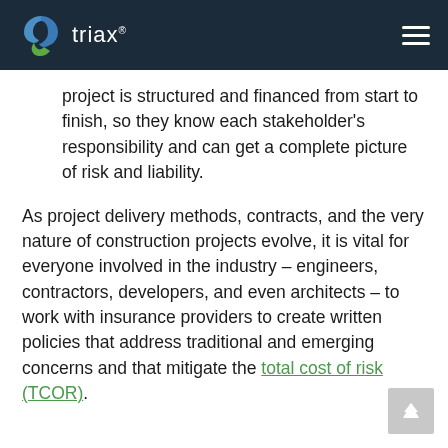triax
project is structured and financed from start to finish, so they know each stakeholder's responsibility and can get a complete picture of risk and liability.
As project delivery methods, contracts, and the very nature of construction projects evolve, it is vital for everyone involved in the industry – engineers, contractors, developers, and even architects – to work with insurance providers to create written policies that address traditional and emerging concerns and that mitigate the total cost of risk (TCOR).